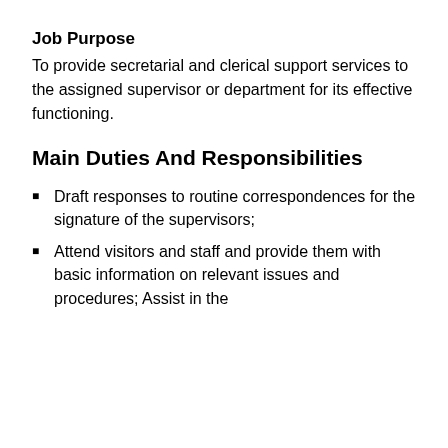Job Purpose
To provide secretarial and clerical support services to the assigned supervisor or department for its effective functioning.
Main Duties And Responsibilities
Draft responses to routine correspondences for the signature of the supervisors;
Attend visitors and staff and provide them with basic information on relevant issues and procedures; Assist in the